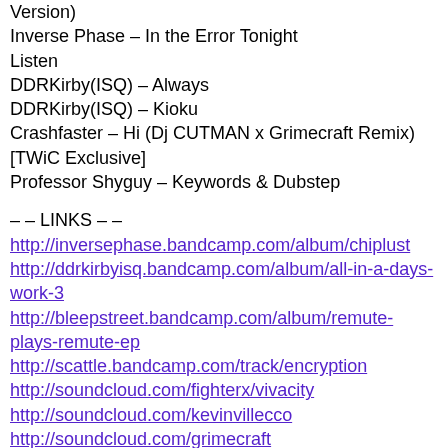Version)
Inverse Phase – In the Error Tonight
Listen
DDRKirby(ISQ) – Always
DDRKirby(ISQ) – Kioku
Crashfaster – Hi (Dj CUTMAN x Grimecraft Remix) [TWiC Exclusive]
Professor Shyguy – Keywords & Dubstep
– – LINKS – –
http://inversephase.bandcamp.com/album/chiplust
http://ddrkirbyisq.bandcamp.com/album/all-in-a-days-work-3
http://bleepstreet.bandcamp.com/album/remute-plays-remute-ep
http://scattle.bandcamp.com/track/encryption
http://soundcloud.com/fighterx/vivacity
http://soundcloud.com/kevinvillecco
http://soundcloud.com/grimecraft
http://soundcloud.com/dj...